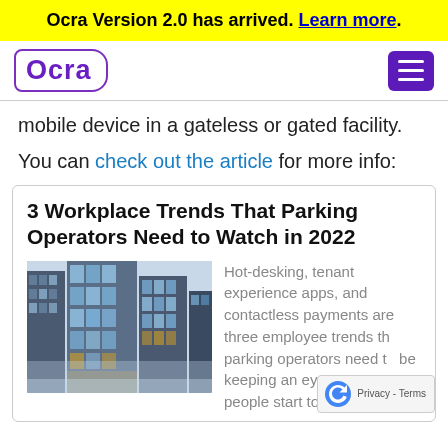Ocra Version 2.0 has arrived. Learn more.
[Figure (logo): Ocra logo with purple border box]
mobile device in a gateless or gated facility.
You can check out the article for more info:
3 Workplace Trends That Parking Operators Need to Watch in 2022
[Figure (photo): Upward view of tall modern glass skyscraper buildings]
Hot-desking, tenant experience apps, and contactless payments are three employee trends that parking operators need to be keeping an eye on as more people start to return